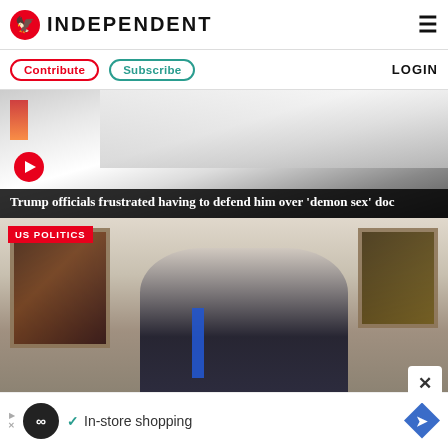INDEPENDENT
Contribute | Subscribe | LOGIN
[Figure (photo): Hero image with person in white shirt at podium, play button overlay. Headline: Trump officials frustrated having to defend him over 'demon sex' doc]
Trump officials frustrated having to defend him over ‘demon sex’ doc
[Figure (photo): US Politics tagged photo of a bald man in dark suit with blue tie speaking, with classical paintings visible in background. Woman with glasses behind him. Close (X) button overlay.]
US POLITICS
[Figure (other): Advertisement bar: circular logo with infinity symbol, checkmark, 'In-store shopping' text, blue diamond arrow icon]